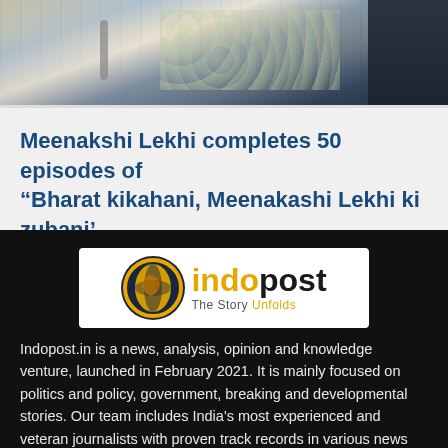[Figure (photo): Photograph of Meenakshi Lekhi in a meeting setting, partially cropped at top of page]
Meenakshi Lekhi completes 50 episodes of “Bharat kikahani, Meenakashi Lekhi ki zubani’
[Figure (logo): Indopost logo: circular globe icon in dark navy/gold on left, 'indo' in gold bold and 'post' in black bold, tagline 'The Story Unfolds' below]
Indopost.in is a news, analysis, opinion and knowledge venture, launched in February 2021. It is mainly focused on politics and policy, government, breaking and developmental stories. Our team includes India's most experienced and veteran journalists with proven track records in various news organizations.